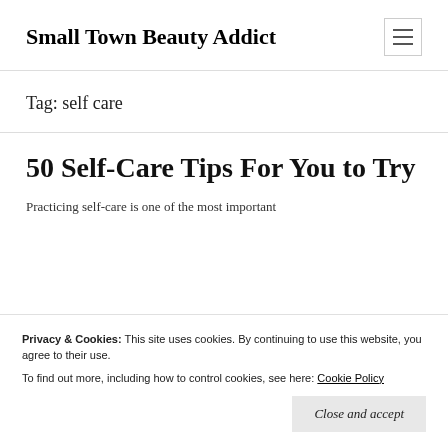Small Town Beauty Addict
Tag: self care
50 Self-Care Tips For You to Try
Practicing self-care is one of the most important
Privacy & Cookies: This site uses cookies. By continuing to use this website, you agree to their use.
To find out more, including how to control cookies, see here: Cookie Policy
Close and accept